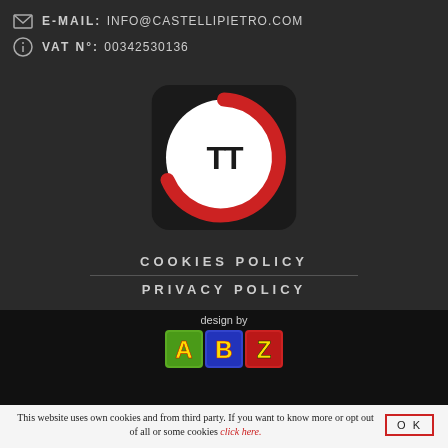E-MAIL: INFO@CASTELLIPIETRO.COM
VAT N°: 00342530136
[Figure (logo): Circular logo with red C-shape arc and TT letters in center on black rounded square background]
COOKIES POLICY
PRIVACY POLICY
[Figure (logo): design by ABZ colored block logo]
This website uses own cookies and from third party. If you want to know more or opt out of all or some cookies click here. OK